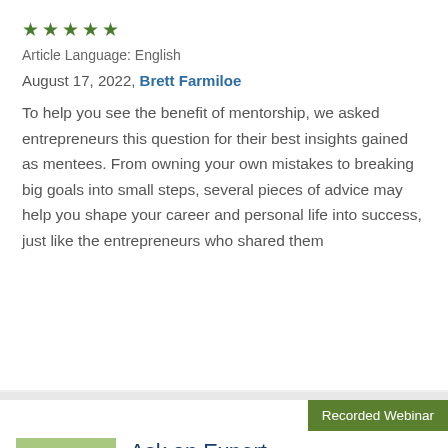★★★★★
Article Language: English
August 17, 2022, Brett Farmiloe
To help you see the benefit of mentorship, we asked entrepreneurs this question for their best insights gained as mentees. From owning your own mistakes to breaking big goals into small steps, several pieces of advice may help you shape your career and personal life into success, just like the entrepreneurs who shared them
Recorded Webinar
[Figure (photo): Thumbnail photo of a person outdoors on grass holding something red]
Ask an Expert - Solutions to the